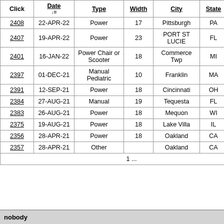| Click | Date ↓= | Type | Width | City | State | Statu |
| --- | --- | --- | --- | --- | --- | --- |
| 2408 | 22-APR-22 | Power | 17 | Pittsburgh | PA | AVAILA |
| 2407 | 19-APR-22 | Power | 23 | PORT ST LUCIE | FL | AVAILA |
| 2401 | 16-JAN-22 | Power Chair or Scooter | 18 | Commerce Twp | MI | AVAILA |
| 2397 | 01-DEC-21 | Manual Pediatric | 10 | Franklin | MA | AVAILA |
| 2391 | 12-SEP-21 | Power | 18 | Cincinnati | OH | AVAILA |
| 2384 | 27-AUG-21 | Manual | 19 | Tequesta | FL | AVAILA |
| 2383 | 26-AUG-21 | Power | 18 | Mequon | WI | AVAILA |
| 2375 | 19-AUG-21 | Power | 18 | Lake Villa | IL | AVAILA |
| 2356 | 28-APR-21 | Power | 18 | Oakland | CA | AVAILA |
| 2357 | 28-APR-21 | Other |  | Oakland | CA | AVAILA |
nobody